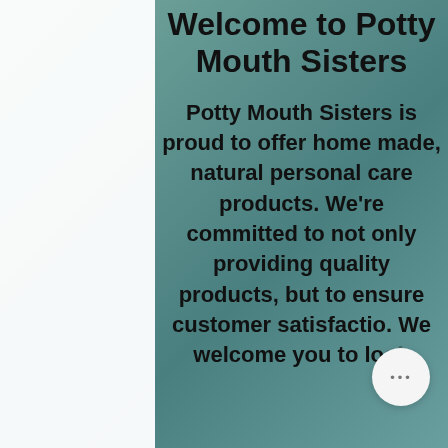Welcome to Potty Mouth Sisters
Potty Mouth Sisters is proud to offer home made, natural personal care products. We're committed to not only providing quality products, but to ensure customer satisfaction. We welcome you to look